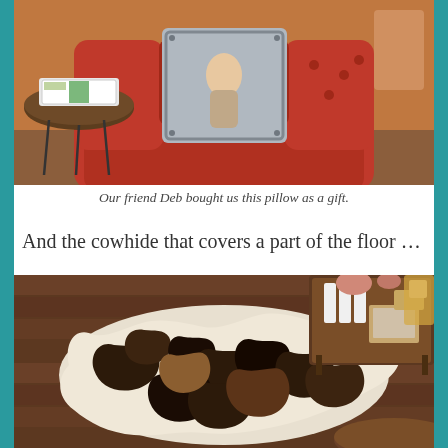[Figure (photo): A red/rust upholstered chair in a corner with a decorative throw pillow featuring a vintage pin-up style image. A dark round side table with hairpin legs is visible to the left with a box on it.]
Our friend Deb bought us this pillow as a gift.
And the cowhide that covers a part of the floor …
[Figure (photo): A cowhide rug with black, brown, and white pattern laid on dark hardwood floors. A wooden media console with candles and picture frames is visible in the background.]